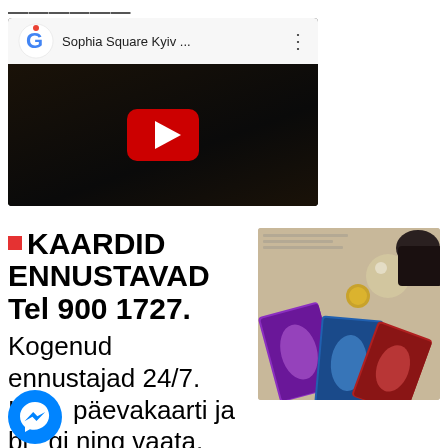[Figure (screenshot): YouTube-style video player showing Google Maps thumbnail for Sophia Square Kyiv, with dark background and red play button]
■ KAARDID ENNUSTAVAD Tel 900 1727. Kogenud ennustajad 24/7. Loe päevakaarti ja blogi ning vaata, kes ennustajatest
[Figure (photo): Tarot cards spread on a table with crystals and mystical objects]